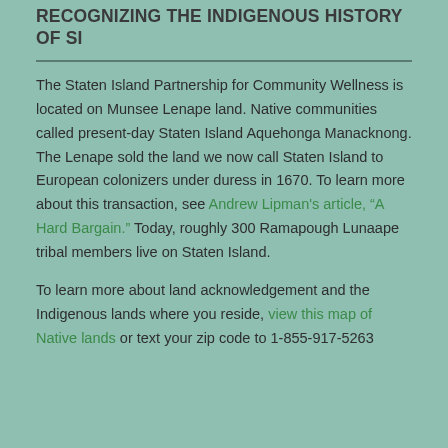RECOGNIZING THE INDIGENOUS HISTORY OF SI
The Staten Island Partnership for Community Wellness is located on Munsee Lenape land. Native communities called present-day Staten Island Aquehonga Manacknong. The Lenape sold the land we now call Staten Island to European colonizers under duress in 1670. To learn more about this transaction, see Andrew Lipman's article, “A Hard Bargain.” Today, roughly 300 Ramapough Lunaape tribal members live on Staten Island.
To learn more about land acknowledgement and the Indigenous lands where you reside, view this map of Native lands or text your zip code to 1-855-917-5263